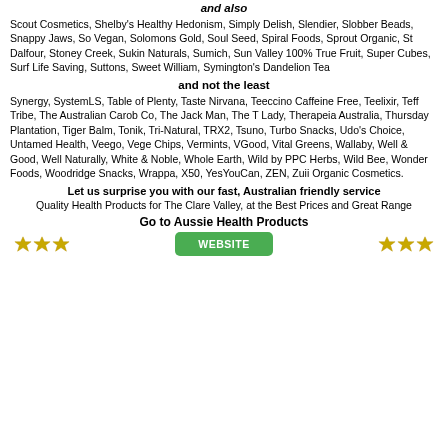and also
Scout Cosmetics, Shelby's Healthy Hedonism, Simply Delish, Slendier, Slobber Beads, Snappy Jaws, So Vegan, Solomons Gold, Soul Seed, Spiral Foods, Sprout Organic, St Dalfour, Stoney Creek, Sukin Naturals, Sumich, Sun Valley 100% True Fruit, Super Cubes, Surf Life Saving, Suttons, Sweet William, Symington's Dandelion Tea
and not the least
Synergy, SystemLS, Table of Plenty, Taste Nirvana, Teeccino Caffeine Free, Teelixir, Teff Tribe, The Australian Carob Co, The Jack Man, The T Lady, Therapeia Australia, Thursday Plantation, Tiger Balm, Tonik, Tri-Natural, TRX2, Tsuno, Turbo Snacks, Udo's Choice, Untamed Health, Veego, Vege Chips, Vermints, VGood, Vital Greens, Wallaby, Well & Good, Well Naturally, White & Noble, Whole Earth, Wild by PPC Herbs, Wild Bee, Wonder Foods, Woodridge Snacks, Wrappa, X50, YesYouCan, ZEN, Zuii Organic Cosmetics.
Let us surprise you with our fast, Australian friendly service
Quality Health Products for The Clare Valley, at the Best Prices and Great Range
Go to Aussie Health Products
[Figure (other): Gold star icons on left and right, green WEBSITE button in center]